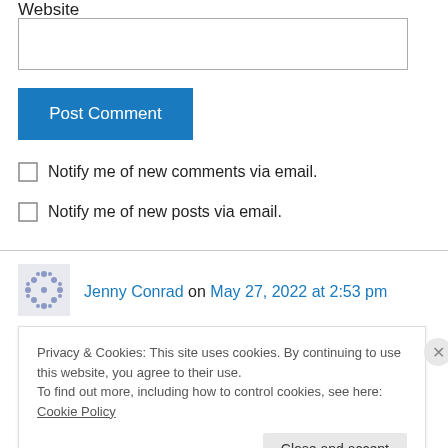Website
Post Comment
Notify me of new comments via email.
Notify me of new posts via email.
Jenny Conrad on May 27, 2022 at 2:53 pm
Privacy & Cookies: This site uses cookies. By continuing to use this website, you agree to their use. To find out more, including how to control cookies, see here: Cookie Policy
Close and accept